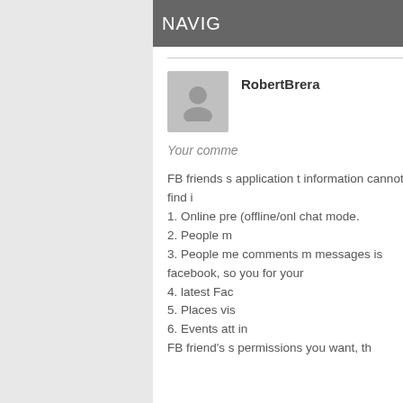NAVIG
RobertBrera
Your comme
FB friends s application t information cannot find i
1. Online pre (offline/onl chat mode.
2. People m
3. People me comments m messages is facebook, so you for your
4. latest Fac
5. Places vis
6. Events att in
FB friend's s permissions you want, th